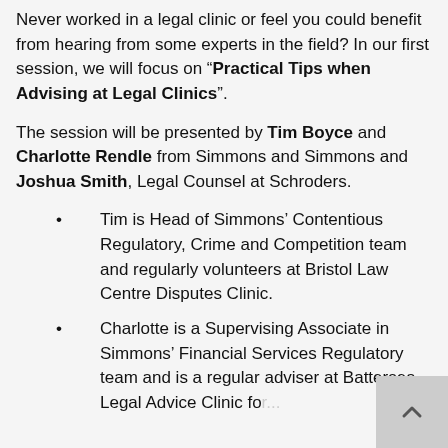Never worked in a legal clinic or feel you could benefit from hearing from some experts in the field? In our first session, we will focus on “Practical Tips when Advising at Legal Clinics”.
The session will be presented by Tim Boyce and Charlotte Rendle from Simmons and Simmons and Joshua Smith, Legal Counsel at Schroders.
Tim is Head of Simmons’ Contentious Regulatory, Crime and Competition team and regularly volunteers at Bristol Law Centre Disputes Clinic.
Charlotte is a Supervising Associate in Simmons’ Financial Services Regulatory team and is a regular adviser at Battersea Legal Advice Clinic for...